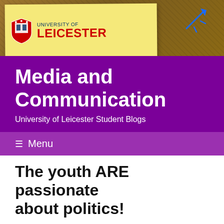[Figure (logo): University of Leicester sticky note logo on wood-grain background header banner]
Media and Communication
University of Leicester Student Blogs
≡ Menu
The youth ARE passionate about politics!
Posted by Nia in Media and Communication on April 30, 2015
With the general election creeping around the corner (7 may is voting day remember!), myself and my friends have